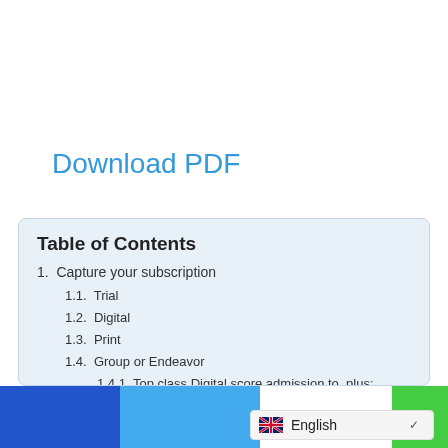Download PDF
Table of Contents
1.  Capture your subscription
1.1.  Trial
1.2.  Digital
1.3.  Print
1.4.  Group or Endeavor
1.4.1. Top class Digital score admission to, plus:
1.5. Or, whenever you are already a subscriber